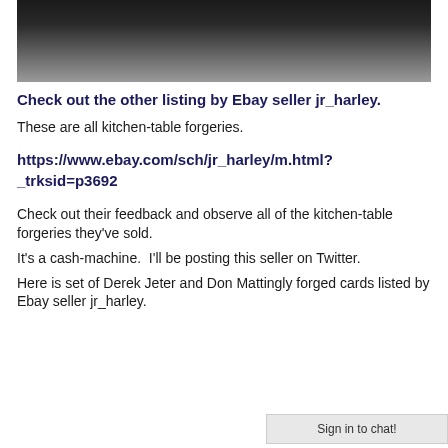[Figure (photo): Dark gradient photograph showing a dark surface, top portion of what appears to be an eBay listing page image]
Check out the other listing by Ebay seller jr_harley.
These are all kitchen-table forgeries.
https://www.ebay.com/sch/jr_harley/m.html?_trksid=p3692
Check out their feedback and observe all of the kitchen-table forgeries they've sold.
It's a cash-machine.  I'll be posting this seller on Twitter.
Here is set of Derek Jeter and Don Mattingly forged cards listed by Ebay seller jr_harley.